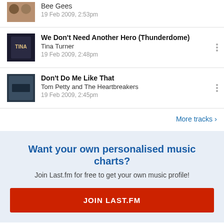Bee Gees — 19 Feb 2009, 2:53pm
We Don't Need Another Hero (Thunderdome) — Tina Turner — 19 Feb 2009, 2:48pm
Don't Do Me Like That — Tom Petty and The Heartbreakers — 19 Feb 2009, 2:45pm
More tracks ›
Want your own personalised music charts?
Join Last.fm for free to get your own music profile!
JOIN LAST.FM